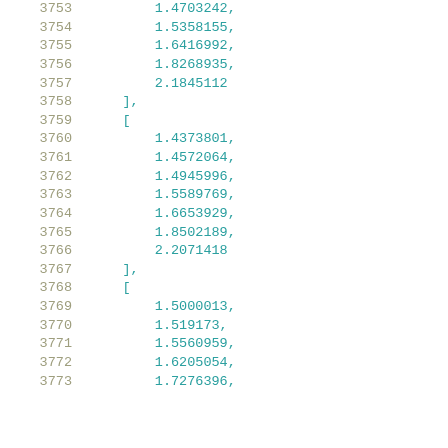3753    1.4703242,
3754    1.5358155,
3755    1.6416992,
3756    1.8268935,
3757    2.1845112
3758 ],
3759 [
3760    1.4373801,
3761    1.4572064,
3762    1.4945996,
3763    1.5589769,
3764    1.6653929,
3765    1.8502189,
3766    2.2071418
3767 ],
3768 [
3769    1.5000013,
3770    1.519173,
3771    1.5560959,
3772    1.6205054,
3773    1.7276396,